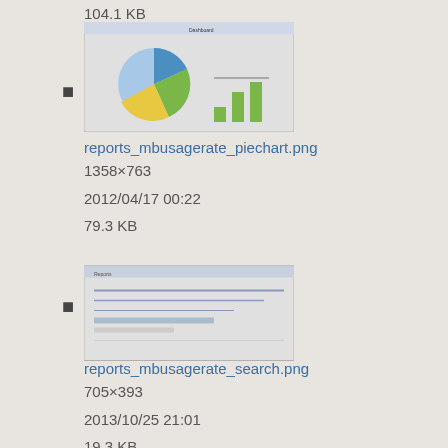104.1 KB
[Figure (screenshot): Thumbnail of reports_mbusagerate_piechart.png showing a pie chart and bar chart dashboard]
reports_mbusagerate_piechart.png
1358×763
2012/04/17 00:22
79.3 KB
[Figure (screenshot): Thumbnail of reports_mbusagerate_search.png showing a search/report interface]
reports_mbusagerate_search.png
705×393
2013/10/25 21:01
19.3 KB
[Figure (screenshot): Thumbnail of roam_server_add_user_specified.png showing a form interface]
roam_server_add_user_specified.png
824×375
2015/04/27 15:19
25.9 KB
[Figure (screenshot): Partial thumbnail of next item at bottom of page]